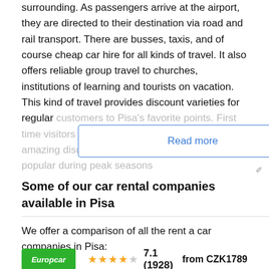surrounding. As passengers arrive at the airport, they are directed to their destination via road and rail transport. There are busses, taxis, and of course cheap car hire for all kinds of travel. It also offers reliable group travel to churches, institutions of learning and tourists on vacation. This kind of travel provides discount varieties for regular customers to Pisa's favorite points. First time visitors will also find special offers with amazing discounts. Car rental services are popular during peak seasons
Read more
Some of our car rental companies available in Pisa
We offer a comparison of all the rent a car companies in Pisa:
Europcar  7.1 (1928)  from CZK1789